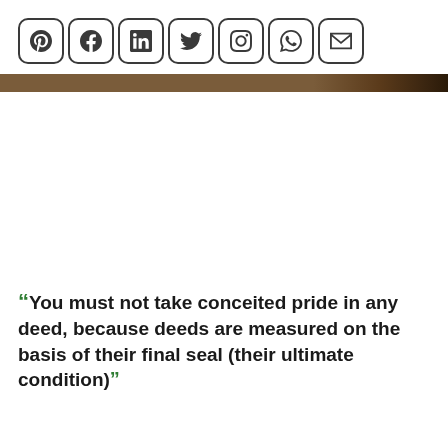[Figure (illustration): Row of 7 social media icon buttons in rounded square outlines: Pinterest (P), Facebook (f), LinkedIn (in), Twitter (bird), Instagram (camera), WhatsApp (phone), Email (envelope)]
[Figure (photo): A thin horizontal brown/dark gradient banner bar spanning the full width]
“You must not take conceited pride in any deed, because deeds are measured on the basis of their final seal (their ultimate condition)”